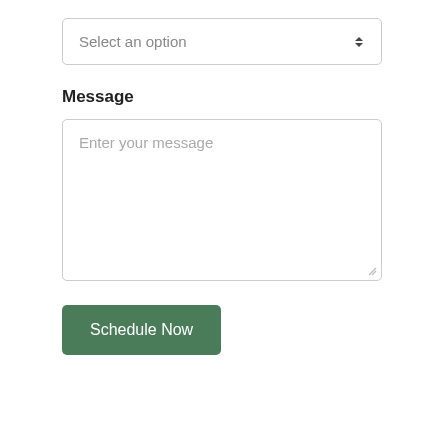[Figure (screenshot): A dropdown/select input box with placeholder text 'Select an option' and an up-down arrow icon on the right, bordered with a light gray rounded rectangle]
Message
[Figure (screenshot): A large textarea input box with placeholder text 'Enter your message', bordered with a light gray rounded rectangle, with a resize handle in the bottom-right corner]
[Figure (screenshot): A green rounded button with white text reading 'Schedule Now']